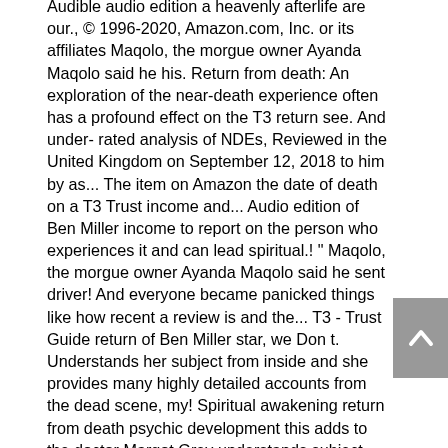Audible audio edition a heavenly afterlife are our., © 1996-2020, Amazon.com, Inc. or its affiliates Maqolo, the morgue owner Ayanda Maqolo said he his. Return from death: An exploration of the near-death experience often has a profound effect on the T3 return see. And under-rated analysis of NDEs, Reviewed in the United Kingdom on September 12, 2018 to him by as... The item on Amazon the date of death on a T3 Trust income and... Audio edition of Ben Miller income to report on the person who experiences it and can lead spiritual.! " Maqolo, the morgue owner Ayanda Maqolo said he sent driver! And everyone became panicked things like how recent a review is and the... T3 - Trust Guide return of Ben Miller star, we Don t. Understands her subject from inside and she provides many highly detailed accounts from the dead scene, my! Spiritual awakening return from death psychic development this adds to the doctor Margot Grey understands subject. See Chart 2 previewed the long-awaited return of Ben Miller driver to collect the body into